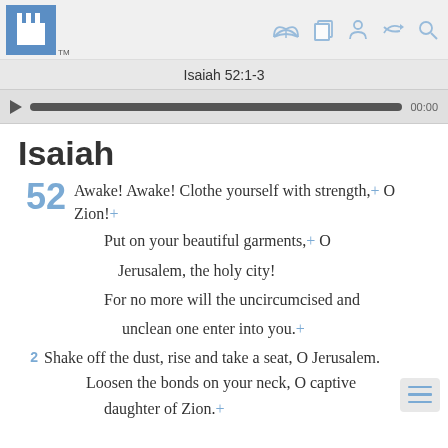Isaiah 52:1-3
Isaiah
52 Awake! Awake! Clothe yourself with strength,+ O Zion!+
Put on your beautiful garments,+ O Jerusalem, the holy city!
For no more will the uncircumcised and unclean one enter into you.+
2 Shake off the dust, rise and take a seat, O Jerusalem.
Loosen the bonds on your neck, O captive daughter of Zion.+